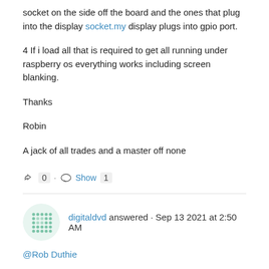socket on the side off the board and the ones that plug into the display socket.my display plugs into gpio port.
4 If i load all that is required to get all running under raspberry os everything works including screen blanking.
Thanks
Robin
A jack of all trades and a master off none
0 · Show 1
digitaldvd answered · Sep 13 2021 at 2:50 AM
@Rob Duthie
@Kevin Windrem
I have still not been able to get the dimmer and screen blanking to work at this time and think that if those files that are missing under sys/class/backlight are not there then it will not work and